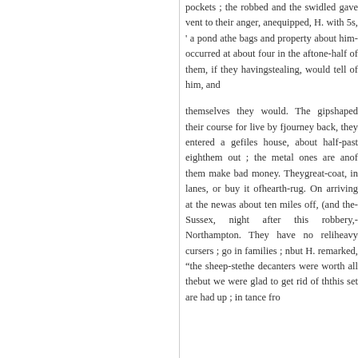pockets ; the robbed and the swindled gave vent to their anger, an equipped, H. with 5s, ' a pond a the bags and property about him occurred at about four in the aft one-half of them, if they having stealing, would tell of him, and
themselves they would. The gip shaped their course for live by f journey back, they entered a ge files house, about half-past eigh them out ; the metal ones are an of them make bad money. They great-coat, in lanes, or buy it of hearth-rug. On arriving at the ne was about ten miles off, (and th Sussex, night after this robbery, Northampton. They have no reli heavy cursers ; go in families ; n but H. remarked, "the sheep-ste the decanters were worth all the but we were glad to get rid of th this set are had up ; in tance fro